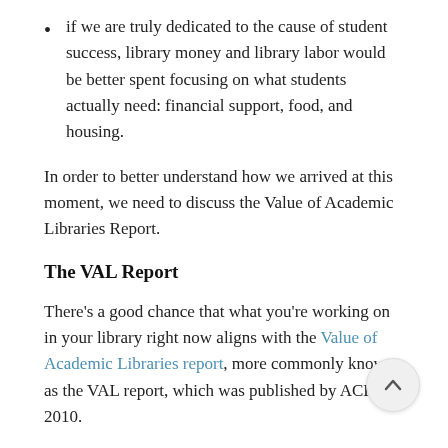if we are truly dedicated to the cause of student success, library money and library labor would be better spent focusing on what students actually need: financial support, food, and housing.
In order to better understand how we arrived at this moment, we need to discuss the Value of Academic Libraries Report.
The VAL Report
There's a good chance that what you're working on in your library right now aligns with the Value of Academic Libraries report, more commonly known as the VAL report, which was published by ACRL in 2010.
If your library has defined outcomes, created or adopted systems for assessment management,